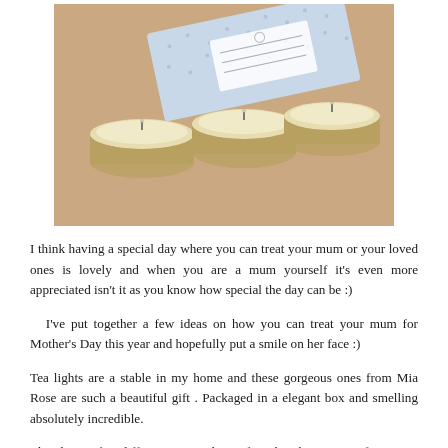[Figure (photo): A photo showing three cream-colored soy tea light candles in small metal tins arranged on a beige fluffy rug, with a light blue polka-dot gift box behind them. The box has a white label in the center.]
I think having a special day where you can treat your mum or your loved ones is lovely and when you are a mum yourself it's even more appreciated isn't it as you know how special the day can be :)
I've put together a few ideas on how you can treat your mum for Mother's Day this year and hopefully put a smile on her face :)
Tea lights are a stable in my home and these gorgeous ones from Mia Rose are such a beautiful gift . Packaged in a elegant box and smelling absolutely incredible.
They have a few different sets to choose from but this set is perfect